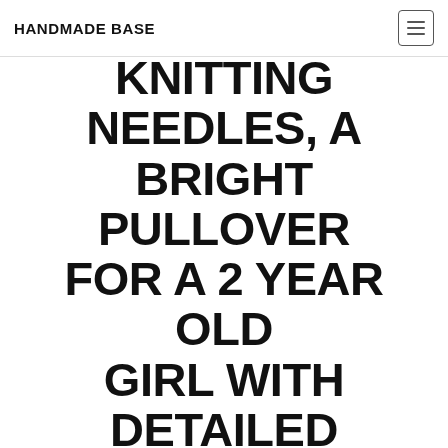HANDMADE BASE
KNITTING NEEDLES, A BRIGHT PULLOVER FOR A 2 YEAR OLD GIRL WITH DETAILED DESCRIPTIONS, DIAGRAMS AND BRIGHT PHOTOS
January 21, 2018  Handmadebase